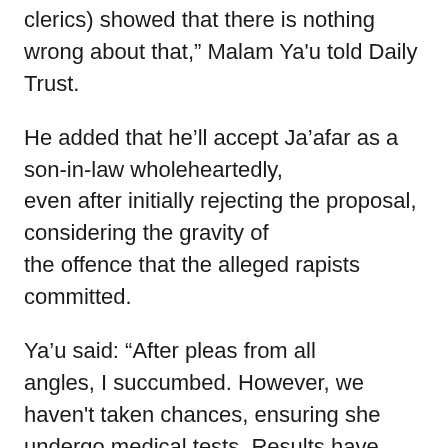clerics) showed that there is nothing wrong about that," Malam Ya'u told Daily Trust.
He added that he'll accept Ja'afar as a son-in-law wholeheartedly, even after initially rejecting the proposal, considering the gravity of the offence that the alleged rapists committed.
Ya'u said: “After pleas from all angles, I succumbed. However, we haven't taken chances, ensuring she undergo medical tests. Results have shown that she's OK.”
Ya'u also had a meeting with Ja'afar, his future son-in-law.